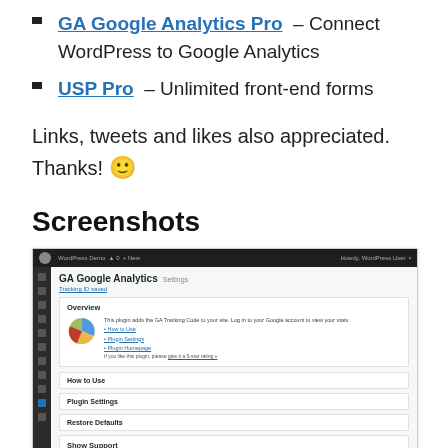GA Google Analytics Pro – Connect WordPress to Google Analytics
USP Pro – Unlimited front-end forms
Links, tweets and likes also appreciated. Thanks! 🙂
Screenshots
[Figure (screenshot): Screenshot of the GA Google Analytics WordPress plugin admin page, showing Overview, How to Use, Plugin Settings, Restore Defaults, and Show Support sections, with a pie chart and donation box visible.]